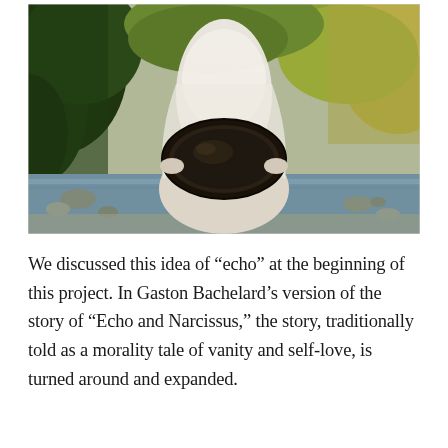[Figure (photo): A person draped in a white sheer veil, crouching near a rocky stream surrounded by lush green and golden foliage, holding a large oval dark-framed mirror face-down in front of them.]
We discussed this idea of "echo" at the beginning of this project. In Gaston Bachelard's version of the story of "Echo and Narcissus," the story, traditionally told as a morality tale of vanity and self-love, is turned around and expanded.